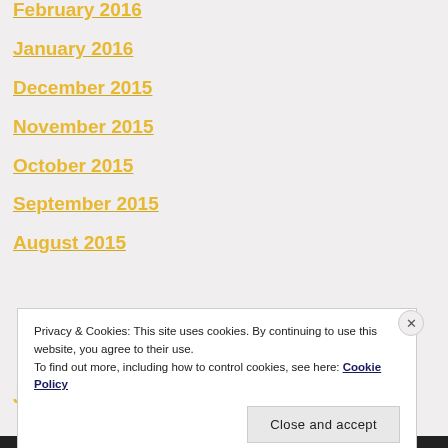February 2016
January 2016
December 2015
November 2015
October 2015
September 2015
August 2015
J[uly 2015 — partially visible]
Privacy & Cookies: This site uses cookies. By continuing to use this website, you agree to their use.
To find out more, including how to control cookies, see here: Cookie Policy
Close and accept